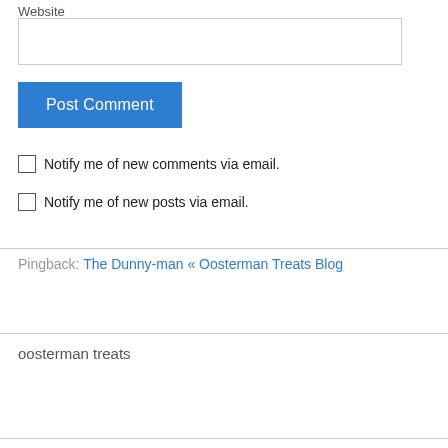Website
[input field]
Post Comment
Notify me of new comments via email.
Notify me of new posts via email.
Pingback: The Dunny-man « Oosterman Treats Blog
oosterman treats